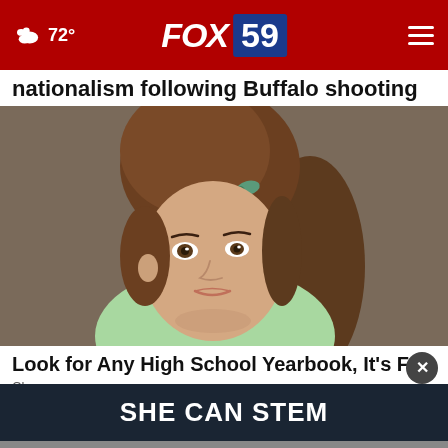72° FOX 59
nationalism following Buffalo shooting
[Figure (photo): Colorized vintage school portrait of a young woman with tall bouffant hairstyle and green bow, wearing a light green sweater, against a brown background.]
Look for Any High School Yearbook, It's Fr
Clas s
SHE CAN STEM